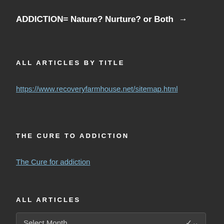ADDICTION= Nature? Nurture? or Both →
ALL ARTICLES BY TITLE
https://www.recoveryfarmhouse.net/sitemap.html
THE CURE TO ADDICTION
The Cure for addiction
ALL ARTICLES
Select Month